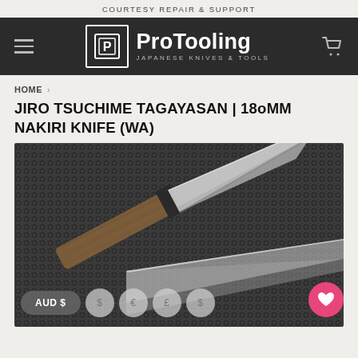COURTESY REPAIR & SUPPORT
[Figure (logo): ProTooling Japanese Knives & Tools logo with navigation bar on dark background]
HOME > JIRO TSUCHIME TAGAYASAN | 180MM NAKIRI KNIFE (WA)
JIRO TSUCHIME TAGAYASAN | 180MM NAKIRI KNIFE (WA)
[Figure (photo): Japanese nakiri knife with tagayasan wooden handle on dark textured background, showing blade detail and handle with bolster]